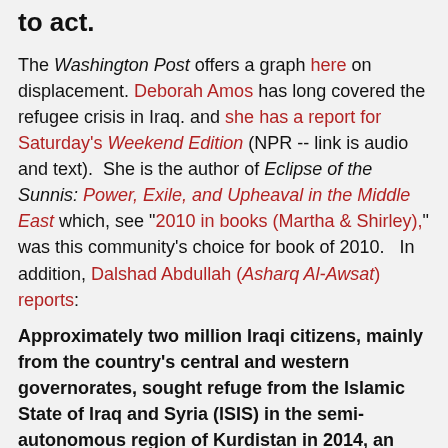to act.
The Washington Post offers a graph here on displacement. Deborah Amos has long covered the refugee crisis in Iraq. and she has a report for Saturday's Weekend Edition (NPR -- link is audio and text).  She is the author of Eclipse of the Sunnis: Power, Exile, and Upheaval in the Middle East which, see "2010 in books (Martha & Shirley)," was this community's choice for book of 2010.   In addition, Dalshad Abdullah (Asharq Al-Awsat) reports:
Approximately two million Iraqi citizens, mainly from the country’s central and western governorates, sought refuge from the Islamic State of Iraq and Syria (ISIS) in the semi-autonomous region of Kurdistan in 2014, an official from the Iraqi Ministry of Displacement and Migration told Asharq Al-Awsat.